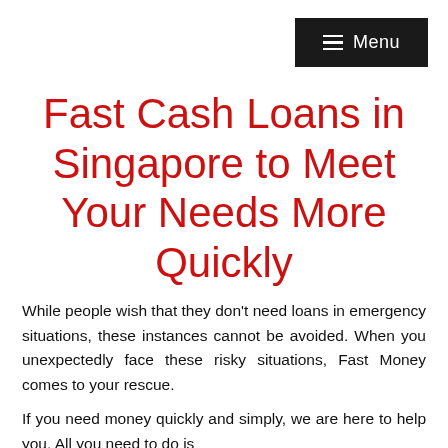Menu
Fast Cash Loans in Singapore to Meet Your Needs More Quickly
While people wish that they don't need loans in emergency situations, these instances cannot be avoided. When you unexpectedly face these risky situations, Fast Money comes to your rescue.
If you need money quickly and simply, we are here to help you. All you need to do is